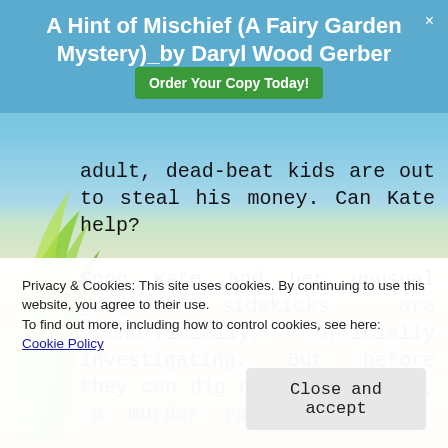A Hint of Mischief (A Fairy Garden Mystery)_by Daryl Wood Gerber  Order Your Copy Today!
adult, dead-beat kids are out to steal his money. Can Kate help?

Soon Kate and her unusual gang of sidekicks are unofficially, officially investigating. But before they can dig out the truth, a murder raises the
Privacy & Cookies: This site uses cookies. By continuing to use this website, you agree to their use.
To find out more, including how to control cookies, see here:
Cookie Policy